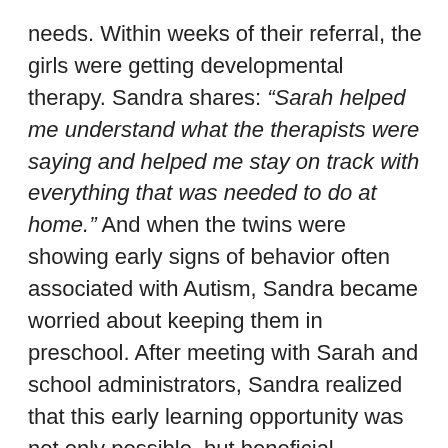needs. Within weeks of their referral, the girls were getting developmental therapy. Sandra shares: “Sarah helped me understand what the therapists were saying and helped me stay on track with everything that was needed to do at home.” And when the twins were showing early signs of behavior often associated with Autism, Sandra became worried about keeping them in preschool. After meeting with Sarah and school administrators, Sandra realized that this early learning opportunity was not only possible, but beneficial.

This story speaks to the core of the mission of